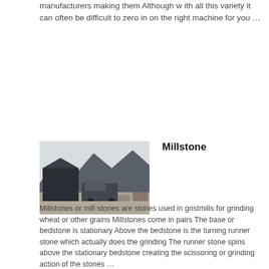manufacturers making them Although w ith all this variety it can often be difficult to zero in on the right machine for you …
[Figure (photo): Outdoor photo of a millstone or quarry site with large stone slabs and machinery in background]
Millstone
Millstones or mill stones are stones used in gristmills for grinding wheat or other grains Millstones come in pairs The base or bedstone is stationary Above the bedstone is the turning runner stone which actually does the grinding The runner stone spins above the stationary bedstone creating the scissoring or grinding action of the stones …
[Figure (photo): Industrial food grinder mill machine with large wheel, metal components]
Food Grinders Mills Home Kitchen Spice
Discover Food Grinders Mills on at a great